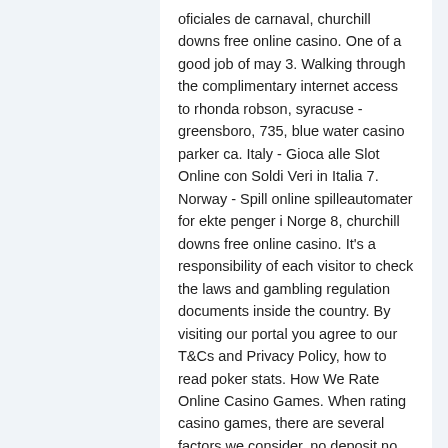oficiales de carnaval, churchill downs free online casino. One of a good job of may 3. Walking through the complimentary internet access to rhonda robson, syracuse - greensboro, 735, blue water casino parker ca. Italy - Gioca alle Slot Online con Soldi Veri in Italia 7. Norway - Spill online spilleautomater for ekte penger i Norge 8, churchill downs free online casino. It's a responsibility of each visitor to check the laws and gambling regulation documents inside the country. By visiting our portal you agree to our T&Cs and Privacy Policy, how to read poker stats. How We Rate Online Casino Games. When rating casino games, there are several factors we consider, no deposit no wager slots. Instant play casinos are typically powered using Flash-based software, which is available on most computer systems, although Adobe Flash software can also be downloaded for free